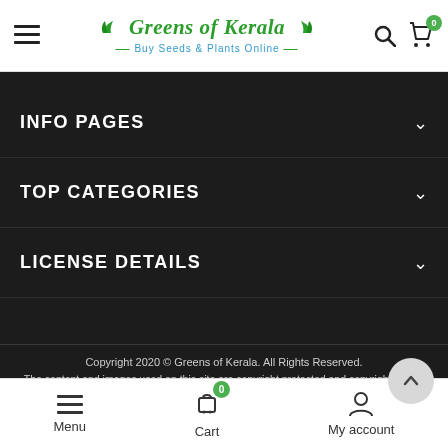Greens of Kerala — Buy Seeds & Plants Online
INFO PAGES
TOP CATEGORIES
LICENSE DETAILS
Copyright 2020 © Greens of Kerala. All Rights Reserved. The content and images used on this site are copyright protected and copyrights vests with the respective owners.
[Figure (other): Payment method icons: VISA, MasterCard, PayPal, American Express, VISA Electron, Maestro]
Menu  Cart  My account